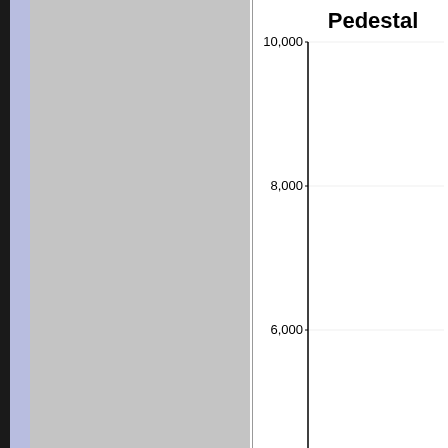[Figure (bar-chart): Pedestal]
COLUTA2/ADC2
[Figure (bar-chart): Partial view of a bar chart, bottom of page, partially cropped]